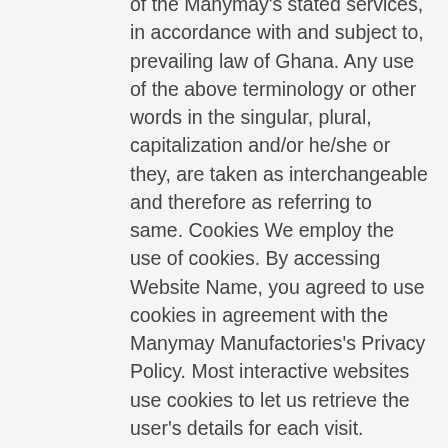of the Manymay's stated services, in accordance with and subject to, prevailing law of Ghana. Any use of the above terminology or other words in the singular, plural, capitalization and/or he/she or they, are taken as interchangeable and therefore as referring to same. Cookies We employ the use of cookies. By accessing Website Name, you agreed to use cookies in agreement with the Manymay Manufactories's Privacy Policy. Most interactive websites use cookies to let us retrieve the user's details for each visit. Cookies are used by our website to enable the functionality of certain areas to make it easier for people visiting our website. Some of our affiliate/advertising partners may also use cookies. License Unless otherwise stated, Manymay and/or its licensors own the intellectual property rights for all material on Manymay.com. All intellectual property rights are reserved. You may access this from Manymay.com for your own personal use subjected to restrictions set in these terms and conditions. You must not: Republish material from Manymay.com Sell, rent or sub-license material